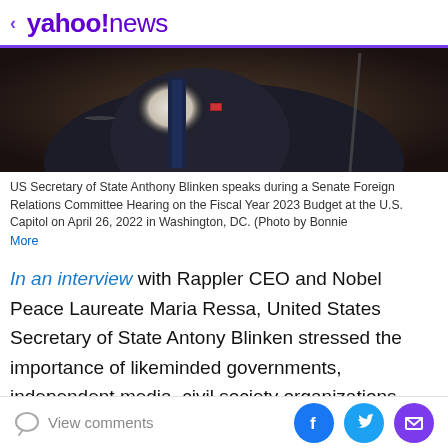< yahoo!news
[Figure (photo): US Secretary of State Anthony Blinken, shown from chest up, wearing a dark suit with American flag lapel pin and dark tie, at a Senate hearing. Dark wood background.]
US Secretary of State Anthony Blinken speaks during a Senate Foreign Relations Committee Hearing on the Fiscal Year 2023 Budget at the U.S. Capitol on April 26, 2022 in Washington, DC. (Photo by Bonnie More
In an interview with Rappler CEO and Nobel Peace Laureate Maria Ressa, United States Secretary of State Antony Blinken stressed the importance of likeminded governments, independent media, civil society organizations, and other individuals who support the cause to actively push back against the rise of digital
View comments